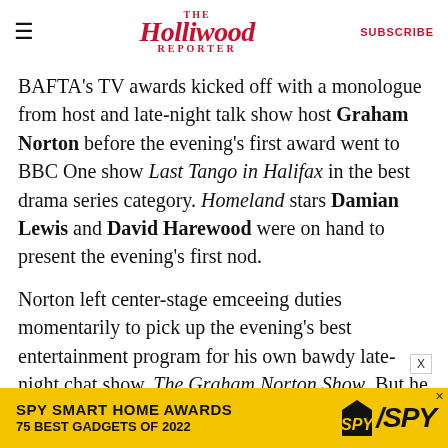The Hollywood Reporter — SUBSCRIBE
BAFTA's TV awards kicked off with a monologue from host and late-night talk show host Graham Norton before the evening's first award went to BBC One show Last Tango in Halifax in the best drama series category. Homeland stars Damian Lewis and David Harewood were on hand to present the evening's first nod.
Norton left center-stage emceeing duties momentarily to pick up the evening's best entertainment program for his own bawdy late-night chat show, The Graham Norton Show. But he missed out on the awards' entertainment
[Figure (other): SPY Smart Home Awards advertisement banner — yellow background with bold black text reading 'SPY SMART HOME AWARDS' and '75 BEST GADGETS OF 2022', with SPY logo in italic on the right.]